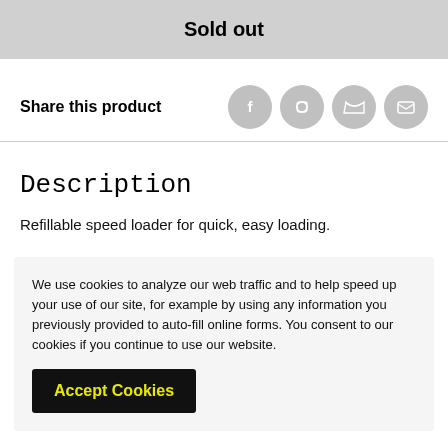Sold out
Share this product
Description
Refillable speed loader for quick, easy loading.
We use cookies to analyze our web traffic and to help speed up your use of our site, for example by using any information you previously provided to auto-fill online forms. You consent to our cookies if you continue to use our website.
Accept Cookies